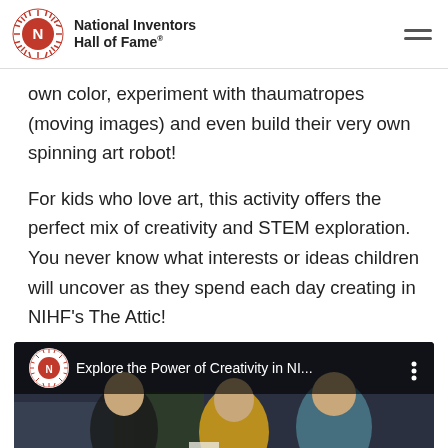National Inventors Hall of Fame®
own color, experiment with thaumatropes (moving images) and even build their very own spinning art robot!
For kids who love art, this activity offers the perfect mix of creativity and STEM exploration. You never know what interests or ideas children will uncover as they spend each day creating in NIHF's The Attic!
[Figure (screenshot): YouTube video thumbnail showing children working on a craft activity at a table, with a video overlay bar reading 'Explore the Power of Creativity in NI...' and the National Inventors Hall of Fame logo]